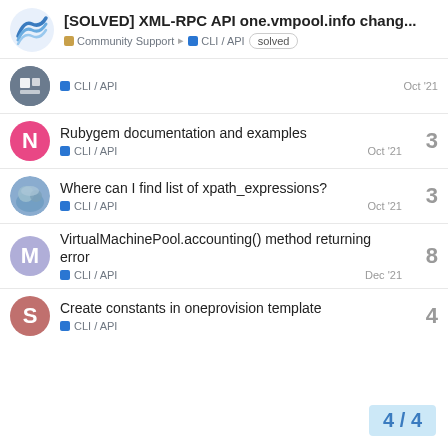[SOLVED] XML-RPC API one.vmpool.info chang... | Community Support > CLI / API | solved
CLI / API | Oct '21
Rubygem documentation and examples | CLI / API | Oct '21 | 3 replies
Where can I find list of xpath_expressions? | CLI / API | Oct '21 | 3 replies
VirtualMachinePool.accounting() method returning error | CLI / API | Dec '21 | 8 replies
Create constants in oneprovision template | CLI / API | 4 replies
4 / 4